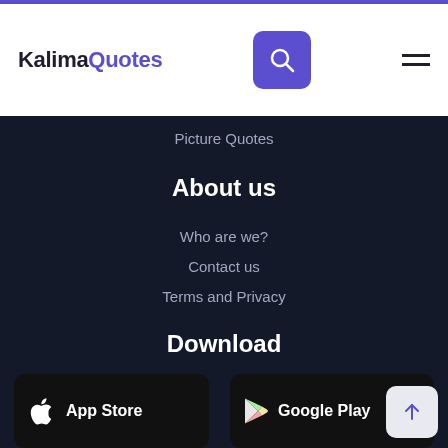KalimaQuotes
Picture Quotes
About us
Who are we?
Contact us
Terms and Privacy
Download
[Figure (screenshot): App Store download button]
[Figure (screenshot): Google Play download button]